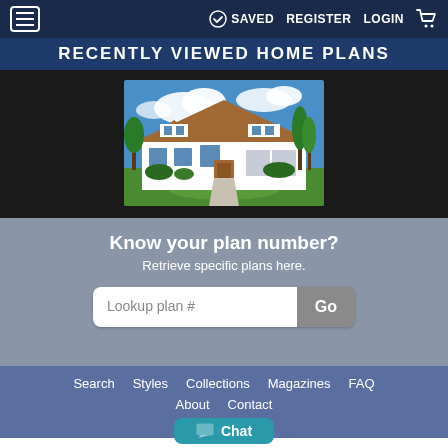≡ SAVED REGISTER LOGIN 🛒
RECENTLY VIEWED HOME PLANS
[Figure (photo): Exterior rendering of a large white modern farmhouse with brown roof, multiple dormers, large garage, and green landscaping under a blue sky.]
Know your plan number?
Retrieve specific plans here.
Lookup plan # Go
Search  Styles  Collections  Magazines  FAQ  About  Contact  Chat